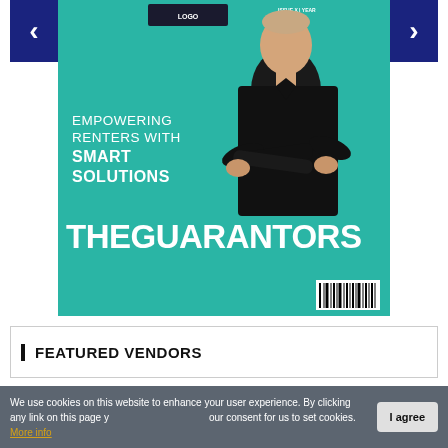[Figure (photo): Magazine cover for TheGuarantors featuring a man in a black shirt with arms crossed against a teal/green background. Text reads 'EMPOWERING RENTERS WITH SMART SOLUTIONS' and 'THEGUARANTORS' in large white letters. Navigation arrows on left and right sides.]
FEATURED VENDORS
We use cookies on this website to enhance your user experience. By clicking any link on this page you are giving your consent for us to set cookies. More info